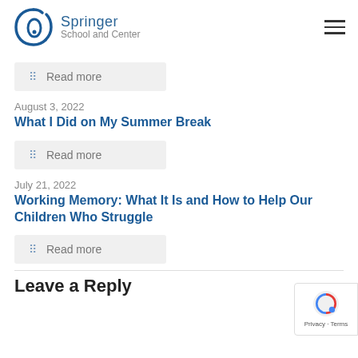Springer School and Center
Read more
August 3, 2022
What I Did on My Summer Break
Read more
July 21, 2022
Working Memory: What It Is and How to Help Our Children Who Struggle
Read more
Leave a Reply